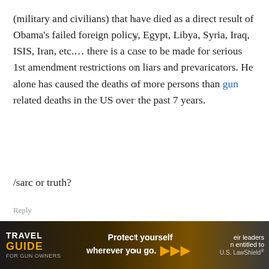(military and civilians) that have died as a direct result of Obama's failed foreign policy, Egypt, Libya, Syria, Iraq, ISIS, Iran, etc.... there is a case to be made for serious 1st amendment restrictions on liars and prevaricators. He alone has caused the deaths of more persons than gun related deaths in the US over the past 7 years.
/sarc or truth?
Reply
Sam I Am
January 22, 2016 At 22:31
Speaking in 1801 of his political foes, Thomas Jefferson identified them them the same as the anti-
eir leaders
n entitled to
[Figure (other): Travel Guide for Gun Owners advertisement banner with LawShield branding. Text reads 'TRAVEL GUIDE FOR GUN OWNERS', 'Protect yourself wherever you go.' with arrow graphic and 'U.S. LawShield' logo.]